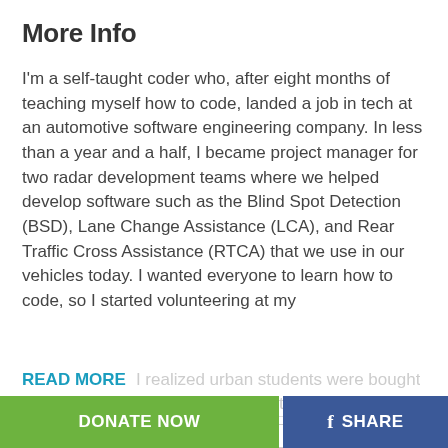More Info
I'm a self-taught coder who, after eight months of teaching myself how to code, landed a job in tech at an automotive software engineering company. In less than a year and a half, I became project manager for two radar development teams where we helped develop software such as the Blind Spot Detection (BSD), Lane Change Assistance (LCA), and Rear Traffic Cross Assistance (RTCA) that we use in our vehicles today. I wanted everyone to learn how to code, so I started volunteering at my
READ MORE  I realized urban students were bought how to also online coding classes through a
DONATE NOW
f  SHARE